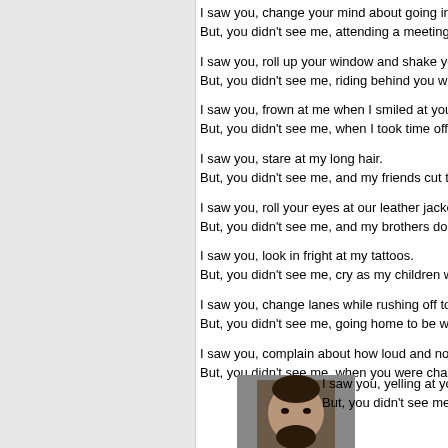I saw you, change your mind about going into the restaurant.
But, you didn't see me, attending a meeting to raise more mo...
I saw you, roll up your window and shake your head when I r...
But, you didn't see me, riding behind you when you flicked yo...
I saw you, frown at me when I smiled at your children.
But, you didn't see me, when I took time off from work to run...
I saw you, stare at my long hair.
But, you didn't see me, and my friends cut ten inches off for l...
I saw you, roll your eyes at our leather jackets and gloves.
But, you didn't see me, and my brothers donate our old ones...
I saw you, look in fright at my tattoos.
But, you didn't see me, cry as my children were born and hav...
I saw you, change lanes while rushing off to go somewhere.
But, you didn't see me, going home to be with my family.
I saw you, complain about how loud and noisy our bikes can...
But, you didn't see me, when you were changing the CD and...
[Figure (photo): Profile photo of a man with a beard and hair pulled back]
I saw you, yelling at your kids in the car.
But, you didn't see me, pat my child's hands, knowing he was...
I saw you, reading the newspaper or map as you drove down...
But, you didn't see me, squeeze my wife's leg when she told...
I saw you, race down the road in the rain.
But, you didn't see me, get soaked to the skin so my son cou...
I saw you, run the yellow light just to save a few minutes of ti...
But, you didn't see me, trying to turn right.
I saw you, cut me off because you needed to be in the lane t...